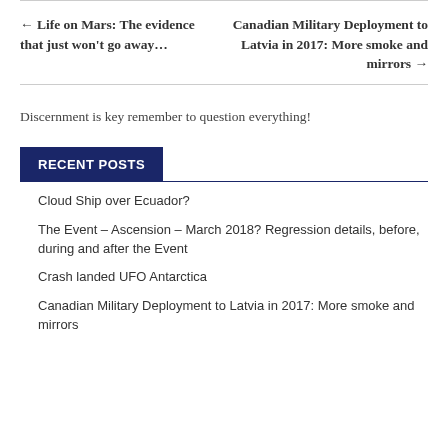← Life on Mars: The evidence that just won't go away…
Canadian Military Deployment to Latvia in 2017: More smoke and mirrors →
Discernment is key remember to question everything!
RECENT POSTS
Cloud Ship over Ecuador?
The Event – Ascension – March 2018? Regression details, before, during and after the Event
Crash landed UFO Antarctica
Canadian Military Deployment to Latvia in 2017: More smoke and mirrors